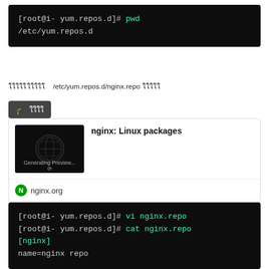[Figure (screenshot): Terminal screenshot showing: [root@i- yum.repos.d]# pwd
/etc/yum.repos.d]
ใใใใใใใใใใ  /etc/yum.repos.d/nginx.repo ใใใใใ
[Figure (screenshot): Link card preview for nginx: Linux packages from nginx.org with a dark WordPress-style preview thumbnail]
[Figure (screenshot): Terminal screenshot showing: [root@i- yum.repos.d]# vi nginx.repo
[root@i- yum.repos.d]# cat nginx.repo
[nginx]
name=nginx repo]